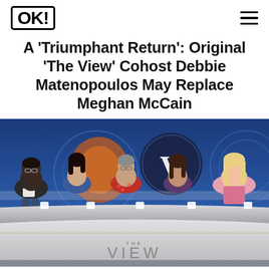OK!
A 'Triumphant Return': Original 'The View' Cohost Debbie Matenopoulos May Replace Meghan McCain
[Figure (photo): Photo of The View cast seated at the circular desk on the set of The View. Five women are visible: Whoopi Goldberg on far left in black and white outfit, a woman in denim blue next to her, Joy Behar in red floral in the center, Sunny Hostin in plaid, and Meghan McCain on the far right in a pink outfit. The View logo is visible on the desk in front of them.]